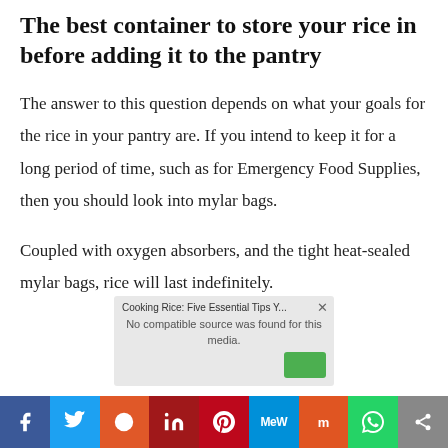The best container to store your rice in before adding it to the pantry
The answer to this question depends on what your goals for the rice in your pantry are. If you intend to keep it for a long period of time, such as for Emergency Food Supplies, then you should look into mylar bags.
Coupled with oxygen absorbers, and the tight heat-sealed mylar bags, rice will last indefinitely.
[Figure (screenshot): Video player overlay showing 'Cooking Rice: Five Essential Tips Y...' with message 'No compatible source was found for this media.' and a green share/upload button, with a close X button in the top right corner.]
Social sharing bar with icons: Facebook, Twitter, Reddit, LinkedIn, Pinterest, MeWe, Mix, WhatsApp, Share